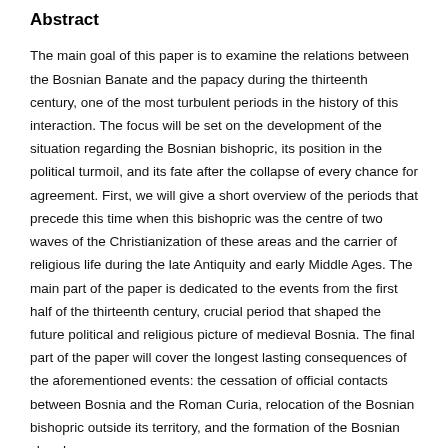Abstract
The main goal of this paper is to examine the relations between the Bosnian Banate and the papacy during the thirteenth century, one of the most turbulent periods in the history of this interaction. The focus will be set on the development of the situation regarding the Bosnian bishopric, its position in the political turmoil, and its fate after the collapse of every chance for agreement. First, we will give a short overview of the periods that precede this time when this bishopric was the centre of two waves of the Christianization of these areas and the carrier of religious life during the late Antiquity and early Middle Ages. The main part of the paper is dedicated to the events from the first half of the thirteenth century, crucial period that shaped the future political and religious picture of medieval Bosnia. The final part of the paper will cover the longest lasting consequences of the aforementioned events: the cessation of official contacts between Bosnia and the Roman Curia, relocation of the Bosnian bishopric outside its territory, and the formation of the Bosnian church – an